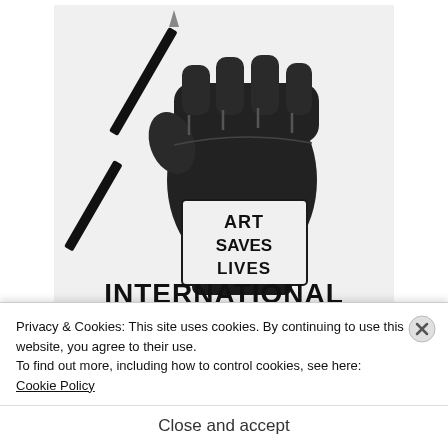[Figure (logo): Art Saves Lives International logo: a raised fist holding a pencil/pen above the words ART SAVES LIVES in block letters, with INTERNATIONAL below in large bold black text]
www.artsaveslivesinternational.com
Privacy & Cookies: This site uses cookies. By continuing to use this website, you agree to their use.
To find out more, including how to control cookies, see here:
Cookie Policy
Close and accept